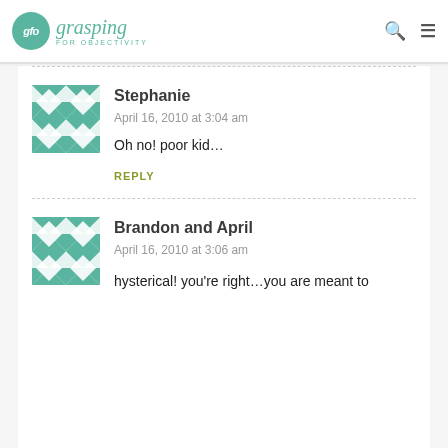glo grasping FOR OBJECTIVITY
Stephanie
April 16, 2010 at 3:04 am
Oh no! poor kid…
REPLY
Brandon and April
April 16, 2010 at 3:06 am
hysterical! you're right…you are meant to